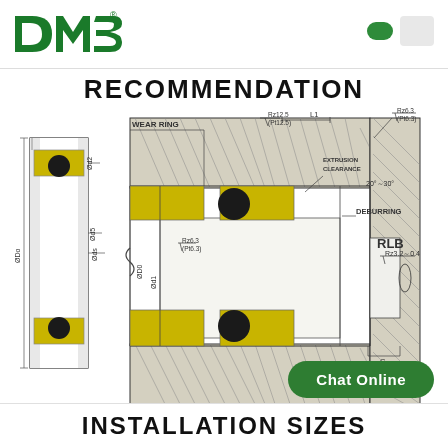DMS (logo)
RECOMMENDATION
[Figure (engineering-diagram): Technical cross-section installation diagram of a rotary lip seal (RLB) showing: left side view with dimensions Ød2, Ød5, Øds labeled on a seal cross-section with wear ring (yellow metal elements and black O-rings); main cross-section view showing WEAR RING, EXTRUSION CLEARANCE, DEBURRING callouts, surface finish marks Rz12.5 (Pt12.5), Rz6.3 (Pt6.3), Rz6.3 (Pt6.3), angle 20°~30°, dimension L1, diameters ØD0, ØD1; lower right shows RLB label and Rz3.2~0.4 surface finish with dimension C.]
INSTALLATION SIZES